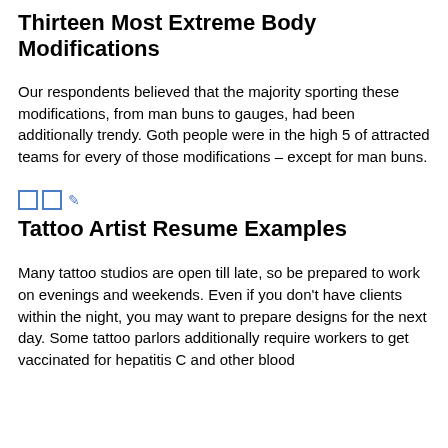Thirteen Most Extreme Body Modifications
Our respondents believed that the majority sporting these modifications, from man buns to gauges, had been additionally trendy. Goth people were in the high 5 of attracted teams for every of those modifications – except for man buns.
[Figure (other): Two small blue square icons followed by a blue edit/link icon]
Tattoo Artist Resume Examples
Many tattoo studios are open till late, so be prepared to work on evenings and weekends. Even if you don't have clients within the night, you may want to prepare designs for the next day. Some tattoo parlors additionally require workers to get vaccinated for hepatitis C and other blood